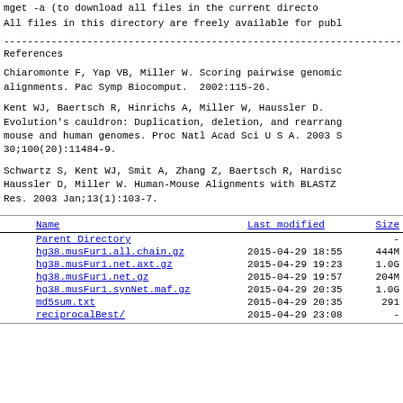mget -a (to download all files in the current directo
All files in this directory are freely available for publ
------------------------------------------------------------------------
References
Chiaromonte F, Yap VB, Miller W. Scoring pairwise genomic alignments. Pac Symp Biocomput.  2002:115-26.
Kent WJ, Baertsch R, Hinrichs A, Miller W, Haussler D. Evolution's cauldron: Duplication, deletion, and rearrang mouse and human genomes. Proc Natl Acad Sci U S A. 2003 S 30;100(20):11484-9.
Schwartz S, Kent WJ, Smit A, Zhang Z, Baertsch R, Hardisc Haussler D, Miller W. Human-Mouse Alignments with BLASTZ Res. 2003 Jan;13(1):103-7.
| Name | Last modified | Size |
| --- | --- | --- |
| Parent Directory |  | - |
| hg38.musFur1.all.chain.gz | 2015-04-29 18:55 | 444M |
| hg38.musFur1.net.axt.gz | 2015-04-29 19:23 | 1.0G |
| hg38.musFur1.net.gz | 2015-04-29 19:57 | 204M |
| hg38.musFur1.synNet.maf.gz | 2015-04-29 20:35 | 1.0G |
| md5sum.txt | 2015-04-29 20:35 | 291 |
| reciprocalBest/ | 2015-04-29 23:08 | - |